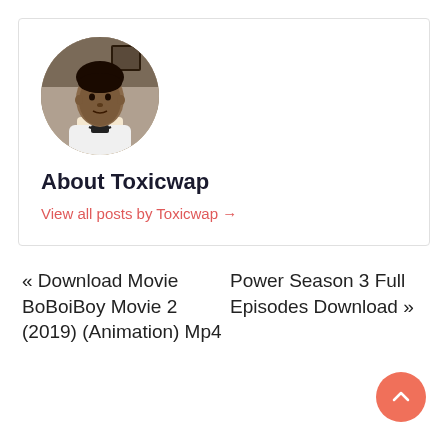[Figure (photo): Circular avatar photo of a man wearing a white t-shirt, with a room interior in the background]
About Toxicwap
View all posts by Toxicwap →
« Download Movie BoBoiBoy Movie 2 (2019) (Animation) Mp4
Power Season 3 Full Episodes Download »